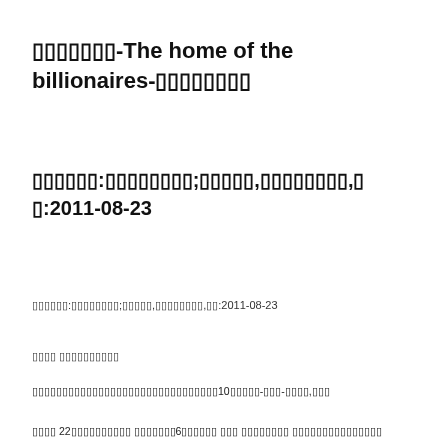▯▯▯▯▯▯▯-The home of the billionaires-▯▯▯▯▯▯▯▯
▯▯▯▯▯▯:▯▯▯▯▯▯▯▯;▯▯▯▯▯,▯▯▯▯▯▯▯▯,▯▯:2011-08-23
▯▯▯▯▯▯:▯▯▯▯▯▯▯▯;▯▯▯▯▯,▯▯▯▯▯▯▯▯,▯▯:2011-08-23
▯▯▯▯ ▯▯▯▯▯▯▯▯▯▯
▯▯▯▯▯▯▯▯▯▯▯▯▯▯▯▯▯▯▯▯▯▯▯▯▯▯▯▯▯▯▯10▯▯▯▯▯-▯▯▯-▯▯▯▯,▯▯▯
▯▯▯▯ 22▯▯▯▯▯▯▯▯▯▯ ▯▯▯▯▯▯▯6▯▯▯▯▯▯ ▯▯▯ ▯▯▯▯▯▯▯▯ ▯▯▯▯▯▯▯▯▯▯▯▯▯▯▯